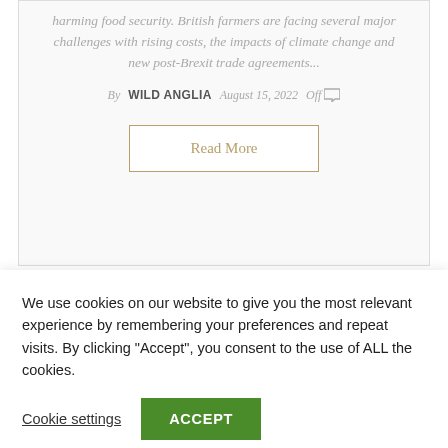harming food security. British farmers are facing several major challenges with rising costs, the impacts of climate change and new post-Brexit trade agreements...
By WILD ANGLIA  August 15, 2022  Off
Read More
We use cookies on our website to give you the most relevant experience by remembering your preferences and repeat visits. By clicking "Accept", you consent to the use of ALL the cookies.
Cookie settings
ACCEPT